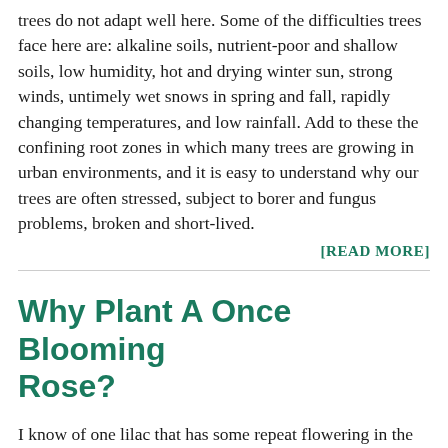trees do not adapt well here. Some of the difficulties trees face here are: alkaline soils, nutrient-poor and shallow soils, low humidity, hot and drying winter sun, strong winds, untimely wet snows in spring and fall, rapidly changing temperatures, and low rainfall. Add to these the confining root zones in which many trees are growing in urban environments, and it is easy to understand why our trees are often stressed, subject to borer and fungus problems, broken and short-lived. [READ MORE]
Why Plant A Once Blooming Rose?
I know of one lilac that has some repeat flowering in the fall, but I'm not aware of any spireas, mockoranges, shrub honeysuckles, forsythias, serviceberries, butterfly bushes, rabbitbrushes, cotoneasters, or other shrubs that repeat their